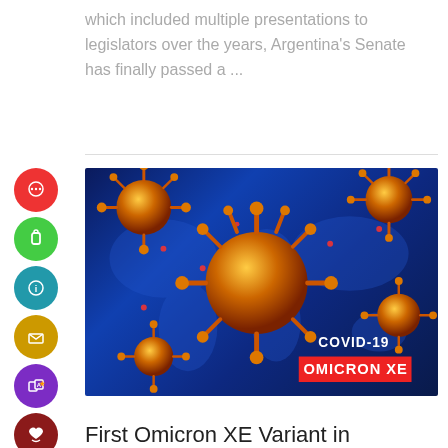which included multiple presentations to legislators over the years, Argentina's Senate has finally passed a ...
[Figure (illustration): COVID-19 Omicron XE variant illustration showing orange coronavirus particles on a dark blue world map background, with text overlay reading 'COVID-19 OMICRON XE']
First Omicron XE Variant in